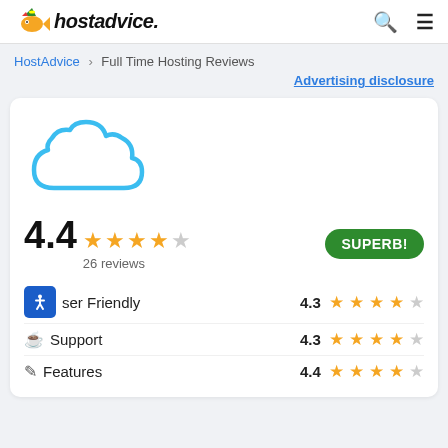hostadvice. [search icon] [menu icon]
HostAdvice > Full Time Hosting Reviews
Advertising disclosure
[Figure (illustration): Cloud icon outline in blue]
4.4 ★★★★☆ 26 reviews  SUPERB!
User Friendly  4.3 ★★★★☆
Support  4.3 ★★★★☆
Features  4.4 ★★★★☆